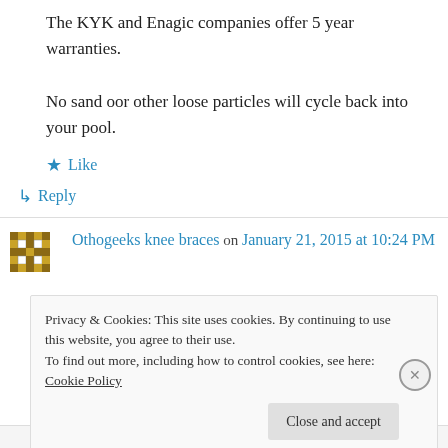The KYK and Enagic companies offer 5 year warranties.
No sand oor other loose particles will cycle back into your pool.
★ Like
↳ Reply
Othogeeks knee braces on January 21, 2015 at 10:24 PM
Privacy & Cookies: This site uses cookies. By continuing to use this website, you agree to their use. To find out more, including how to control cookies, see here: Cookie Policy
Close and accept